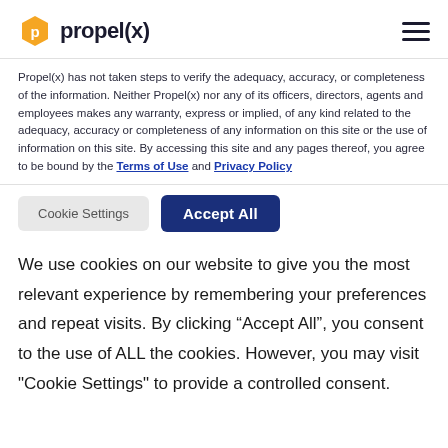propel(x)
Propel(x) has not taken steps to verify the adequacy, accuracy, or completeness of the information. Neither Propel(x) nor any of its officers, directors, agents and employees makes any warranty, express or implied, of any kind related to the adequacy, accuracy or completeness of any information on this site or the use of information on this site. By accessing this site and any pages thereof, you agree to be bound by the Terms of Use and Privacy Policy
Cookie Settings  Accept All
We use cookies on our website to give you the most relevant experience by remembering your preferences and repeat visits. By clicking “Accept All”, you consent to the use of ALL the cookies. However, you may visit "Cookie Settings" to provide a controlled consent.